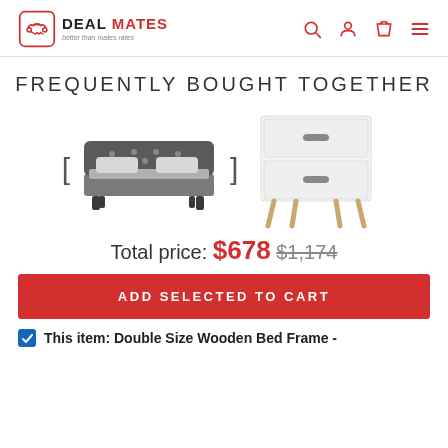DEAL MATES - better than mates rates
FREQUENTLY BOUGHT TOGETHER
[Figure (photo): Two product images side by side: a grey upholstered double bed frame on the left, and a white two-drawer bedside table/nightstand with wooden legs on the right, with bracket navigation arrows between them.]
Total price: $678  $1,174
ADD SELECTED TO CART
This item: Double Size Wooden Bed Frame -